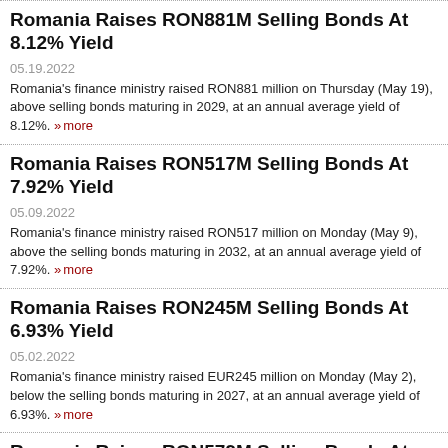Romania Raises RON881M Selling Bonds At 8.12% Yield
05.19.2022
Romania's finance ministry raised RON881 million on Thursday (May 19), above selling bonds maturing in 2029, at an annual average yield of 8.12%. » more
Romania Raises RON517M Selling Bonds At 7.92% Yield
05.09.2022
Romania's finance ministry raised RON517 million on Monday (May 9), above the selling bonds maturing in 2032, at an annual average yield of 7.92%. » more
Romania Raises RON245M Selling Bonds At 6.93% Yield
05.02.2022
Romania's finance ministry raised EUR245 million on Monday (May 2), below the selling bonds maturing in 2027, at an annual average yield of 6.93%. » more
Romania Raises RON579M Selling Bonds At 6.68% Yield
04.14.2022
Romania's Finance Ministry reopened a bond issue due in July 2029 and raised R Thursday, above the planned level of RON300 million, at an annual yield of 6.68%